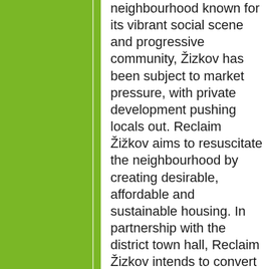neighbourhood known for its vibrant social scene and progressive community, Žizkov has been subject to market pressure, with private development pushing locals out. Reclaim Žižkov aims to resuscitate the neighbourhood by creating desirable, affordable and sustainable housing. In partnership with the district town hall, Reclaim Žizkov intends to convert vacant municipal property into a